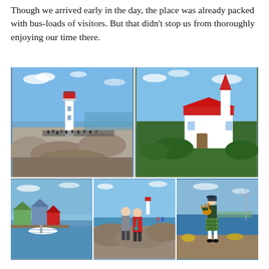Though we arrived early in the day, the place was already packed with bus-loads of visitors. But that didn't stop us from thoroughly enjoying our time there.
[Figure (photo): Collage of five travel photos. Top row: left photo shows Peggy's Cove lighthouse on rocky outcrop with crowds of visitors; right photo shows a white church with red roof and red steeple surrounded by green trees. Bottom row: left photo shows a colourful harbour with fishing shacks and boats; centre photo shows a couple posing on the rocks with the lighthouse visible behind them; right photo shows a bagpiper in a kilt performing near the ocean.]